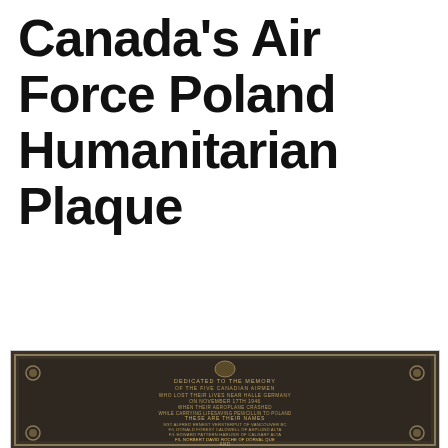Canada's Air Force Poland Humanitarian Plaque
[Figure (photo): A bronze commemorative plaque dedicated to the memory of five Canadian airmen who lost their lives near Halle, Germany on November 17th, 1946 when their aeroplane crashed while carrying life-saving penicillin to Poland. Names listed: Sgt Alfred Ernest Versterput of Vancouver BC, F/L Donald Forest Caldwell of Asplund Alta, F/L Edward Pattern Harling of Calgary Alta, F/L Norbert David Roche of Dorval Que, and Sgt Edwin Erwin Phillips of Montreal Que. This tablet is erected by the United Polish Relief Fund of Canada.]